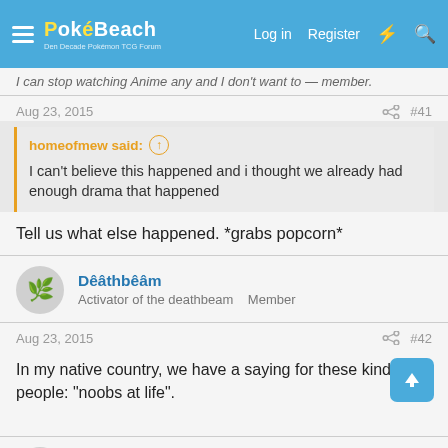PokéBeach — Log in | Register
I can stop watching Anime any and I don't want to — member.
Aug 23, 2015  #41
homeofmew said: ↑
I can't believe this happened and i thought we already had enough drama that happened
Tell us what else happened. *grabs popcorn*
Dêâthbêâm
Activator of the deathbeam   Member
Aug 23, 2015  #42
In my native country, we have a saying for these kinds of people: "noobs at life".
MrIronGolem27